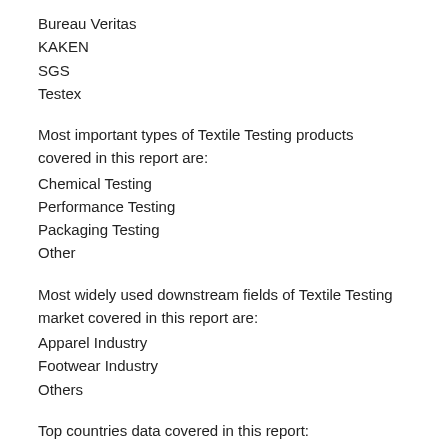Bureau Veritas
KAKEN
SGS
Testex
Most important types of Textile Testing products covered in this report are:
Chemical Testing
Performance Testing
Packaging Testing
Other
Most widely used downstream fields of Textile Testing market covered in this report are:
Apparel Industry
Footwear Industry
Others
Top countries data covered in this report:
United States
Canada
Germany
UK
France